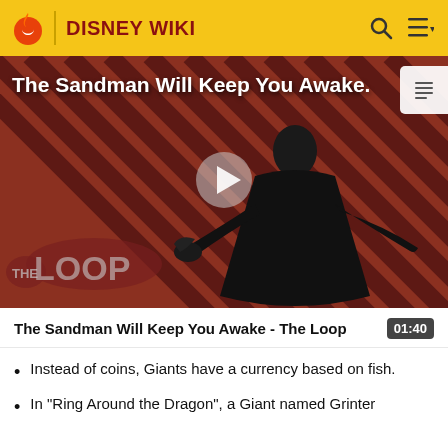DISNEY WIKI
[Figure (screenshot): Video thumbnail showing a dark-cloaked figure against a red and black diagonal striped background. Text overlay reads 'The Sandman Will Keep You Awake.' with THE LOOP logo in lower left and a play button in the center.]
The Sandman Will Keep You Awake - The Loop
Instead of coins, Giants have a currency based on fish.
In "Ring Around the Dragon", a Giant named Grinter